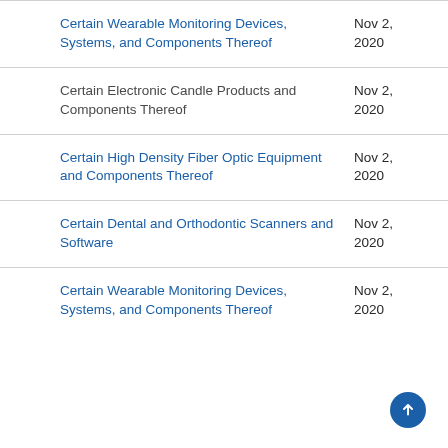Certain Wearable Monitoring Devices, Systems, and Components Thereof	Nov 2, 2020
Certain Electronic Candle Products and Components Thereof	Nov 2, 2020
Certain High Density Fiber Optic Equipment and Components Thereof	Nov 2, 2020
Certain Dental and Orthodontic Scanners and Software	Nov 2, 2020
Certain Wearable Monitoring Devices, Systems, and Components Thereof	Nov 2, 2020